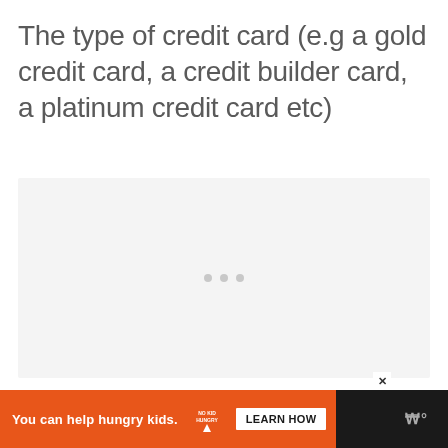The type of credit card (e.g a gold credit card, a credit builder card, a platinum credit card etc)
[Figure (other): Advertisement placeholder box with three gray dots centered, indicating a loading or empty ad slot]
[Figure (infographic): Bottom advertisement banner with dark background. Orange section with text 'You can help hungry kids.' followed by No Kid Hungry logo, a 'LEARN HOW' button, and a close (X) button. Right side shows a stylized W logo.]